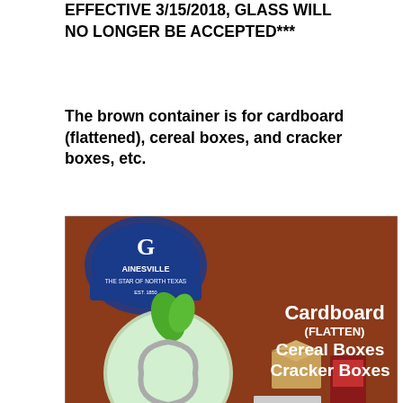EFFECTIVE 3/15/2018, GLASS WILL NO LONGER BE ACCEPTED***
The brown container is for cardboard (flattened), cereal boxes, and cracker boxes, etc.
[Figure (photo): Photo of a brown recycling container with the Gainesville 'The Star of North Texas' logo, a green globe/recycle icon, and text listing accepted items: Cardboard (FLATTEN), Cereal Boxes, Cracker Boxes. Various cardboard boxes and cracker boxes are shown.]
The green container is for newspapers, office paper, phone books and magazines.